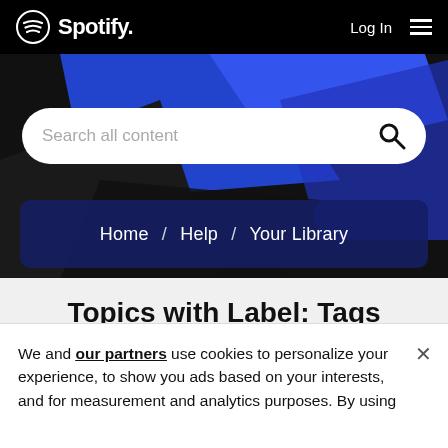Spotify — Log In
[Figure (screenshot): Spotify website header with black background, Spotify logo (circular wave icon + 'Spotify' text), Log In link, and hamburger menu icon]
[Figure (screenshot): Search bar with placeholder text 'Search all content' and magnifying glass icon on a decorative blue geometric background]
Home / Help / Your Library
Topics with Label: Tags
%5BAUTHORS%5D%5BARTISTS%5D (1)
We and our partners use cookies to personalize your experience, to show you ads based on your interests, and for measurement and analytics purposes. By using